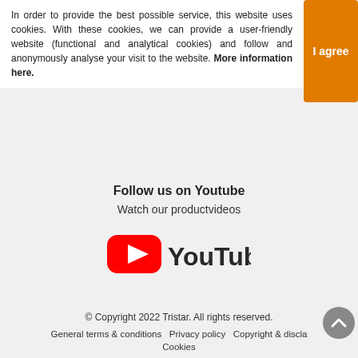Returns
Tristar products
Assortment
Accessories & spare parts
In order to provide the best possible service, this website uses cookies. With these cookies, we can provide a user-friendly website (functional and analytical cookies) and follow and anonymously analyse your visit to the website. More information here.
I agree
Follow us on Youtube
Watch our productvideos
[Figure (logo): YouTube logo — red play button with white triangle and 'YouTube' wordmark in dark text]
© Copyright 2022 Tristar. All rights reserved. General terms & conditions  Privacy policy  Copyright & disclaimer  Cookies